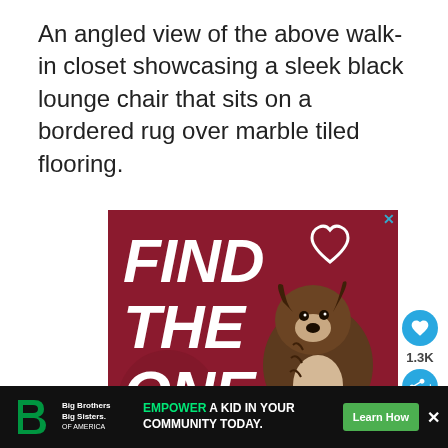An angled view of the above walk-in closet showcasing a sleek black lounge chair that sits on a bordered rug over marble tiled flooring.
[Figure (advertisement): Dark red/maroon advertisement with bold white text reading FIND THE ONE, featuring a brindle dog (puppy) in the foreground with a heart outline in the upper right corner. An X close button is in the top right.]
[Figure (advertisement): Bottom banner ad for Big Brothers Big Sisters of America. Logo on left, green text EMPOWER A KID IN YOUR COMMUNITY TODAY., green Learn How button, X close buttons on right.]